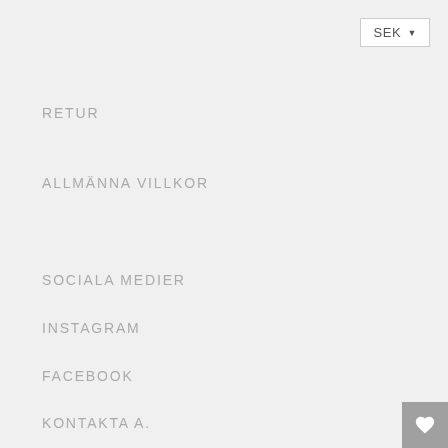SEK ▼
RETUR
ALLMÄNNA VILLKOR
SOCIALA MEDIER
INSTAGRAM
FACEBOOK
KONTAKTA A.
[Figure (illustration): Heart icon button in grey square at bottom right corner]